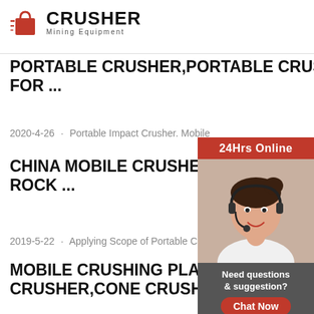[Figure (logo): Red shopping bag icon with speed lines, next to bold CRUSHER text and 'Mining Equipment' subtitle]
PORTABLE CRUSHER,PORTABLE CRUSHERS,PORTABLE CRUSHER FOR ...
2020-4-26 · Portable Impact Crusher. Mobile
CHINA MOBILE CRUSHERS PLANT|CRUSHER MOBILE|PORTABLE ROCK ...
2019-5-22 · Applying Scope of Portable Crush
MOBILE CRUSHING PLANT – CRUSHER,CONE CRUSHER,MO
[Figure (photo): 24Hrs Online customer service representative wearing headset, smiling. Below: Need questions & suggestion? Chat Now button, Enquiry link, limingjlmofen@sina.com email]